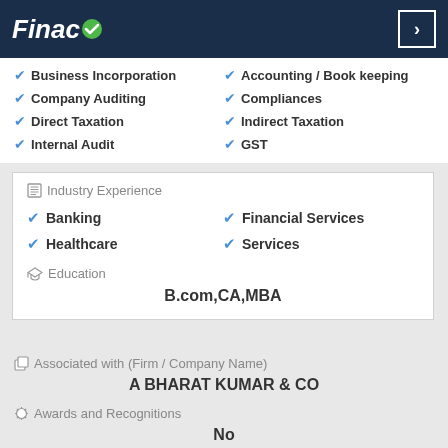Finaco
Business Incorporation
Accounting / Book keeping
Company Auditing
Compliances
Direct Taxation
Indirect Taxation
Internal Audit
GST
Industry Experience
Banking
Financial Services
Healthcare
Services
Education
B.com,CA,MBA
Associated with (Firm / Company Name)
A BHARAT KUMAR & CO
Awards and Recognitions
No